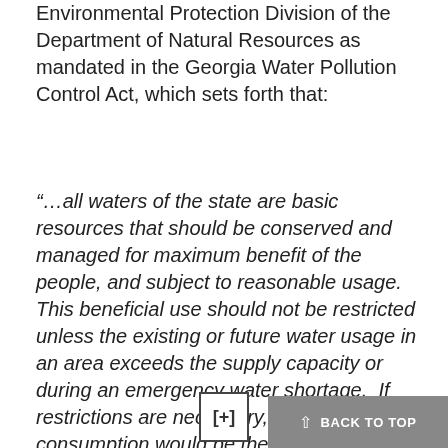Environmental Protection Division of the Department of Natural Resources as mandated in the Georgia Water Pollution Control Act, which sets forth that:
“…all waters of the state are basic resources that should be conserved and managed for maximum benefit of the people, and subject to reasonable usage. This beneficial use should not be restricted unless the existing or future water usage in an area exceeds the supply capacity or during an emergency water shortage. If restrictions are necessary, then human consumption would be the priority use, followed by agricultural and industrial usage as second priorities.”